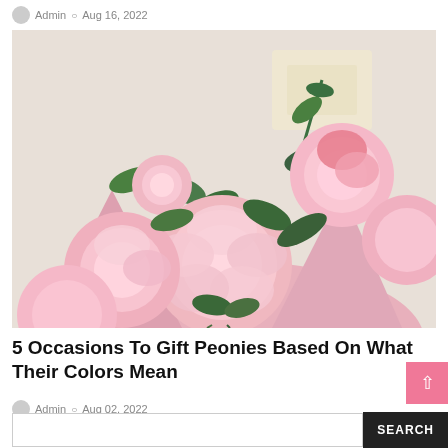Admin  Aug 16, 2022
[Figure (photo): A bouquet of pink peony flowers with green eucalyptus leaves, wrapped in pink paper.]
5 Occasions To Gift Peonies Based On What Their Colors Mean
Admin  Aug 02, 2022